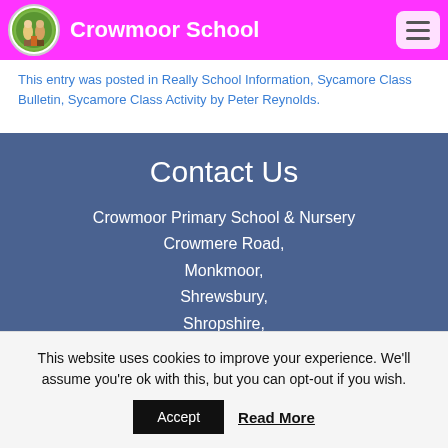Crowmoor School
This entry was posted in Really School Information, Sycamore Class Bulletin, Sycamore Class Activity by Peter Reynolds.
Contact Us
Crowmoor Primary School & Nursery
Crowmere Road,
Monkmoor,
Shrewsbury,
Shropshire,
SY2 5JJ
This website uses cookies to improve your experience. We'll assume you're ok with this, but you can opt-out if you wish.